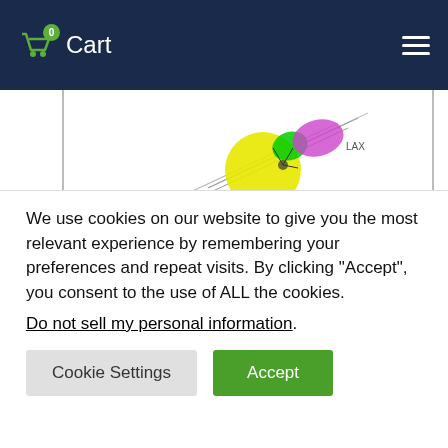Cart — 0 items
[Figure (illustration): Colorful abstract/scientific illustration with yellow circle, green and purple blob shapes, and diagonal lines suggesting a microscopic or stylized organism image, partially cropped at top]
LAX
A clean versatile strain isolated from a famous west coast microbrewery. With little
We use cookies on our website to give you the most relevant experience by remembering your preferences and repeat visits. By clicking “Accept”, you consent to the use of ALL the cookies. Do not sell my personal information.